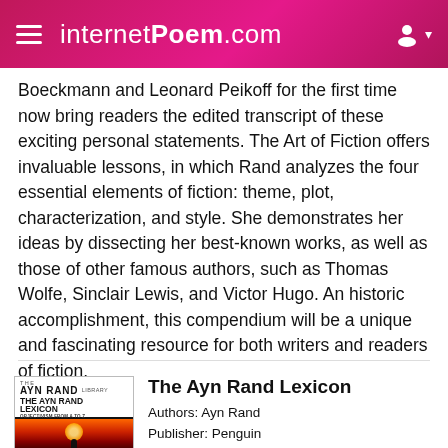internetPoem.com
Boeckmann and Leonard Peikoff for the first time now bring readers the edited transcript of these exciting personal statements. The Art of Fiction offers invaluable lessons, in which Rand analyzes the four essential elements of fiction: theme, plot, characterization, and style. She demonstrates her ideas by dissecting her best-known works, as well as those of other famous authors, such as Thomas Wolfe, Sinclair Lewis, and Victor Hugo. An historic accomplishment, this compendium will be a unique and fascinating resource for both writers and readers of fiction.
[Figure (illustration): Book cover of The Ayn Rand Lexicon showing title text and a sunset/silhouette image at the bottom]
The Ayn Rand Lexicon
Authors: Ayn Rand
Publisher: Penguin
Published Date: 1988-01-01
Categories: Philosophy
A prolific writer, bestselling novelist, and world-renowned philosopher, Ayn Rand